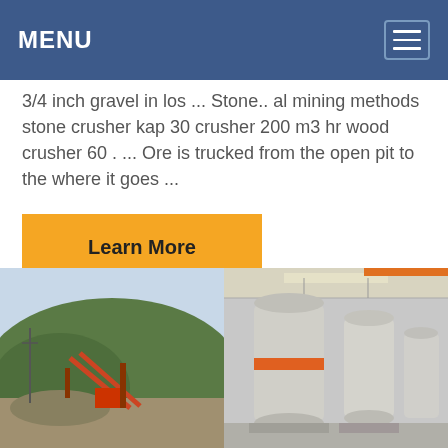MENU
3/4 inch gravel in los ... Stone.. al mining methods stone crusher kap 30 crusher 200 m3 hr wood crusher 60 . ... Ore is trucked from the open pit to the where it goes ...
Learn More
[Figure (photo): Outdoor quarry/mining site with conveyor belts and crushed stone, green hills in background]
[Figure (photo): Industrial grinding mill equipment inside a factory/warehouse setting]